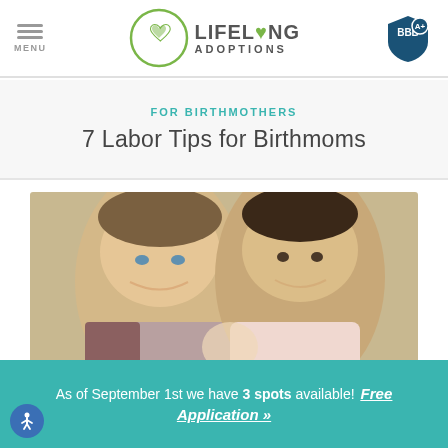MENU | LIFELONG ADOPTIONS | BBB A+
FOR BIRTHMOTHERS
7 Labor Tips for Birthmoms
[Figure (photo): Two men smiling closely together with a baby, adoption-related photo]
As of September 1st we have 3 spots available! Free Application »